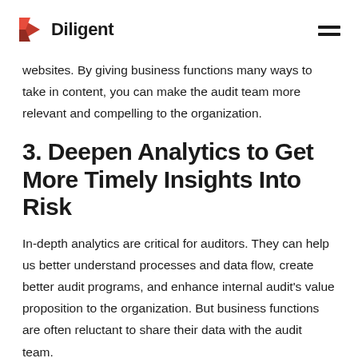Diligent
websites. By giving business functions many ways to take in content, you can make the audit team more relevant and compelling to the organization.
3. Deepen Analytics to Get More Timely Insights Into Risk
In-depth analytics are critical for auditors. They can help us better understand processes and data flow, create better audit programs, and enhance internal audit's value proposition to the organization. But business functions are often reluctant to share their data with the audit team.